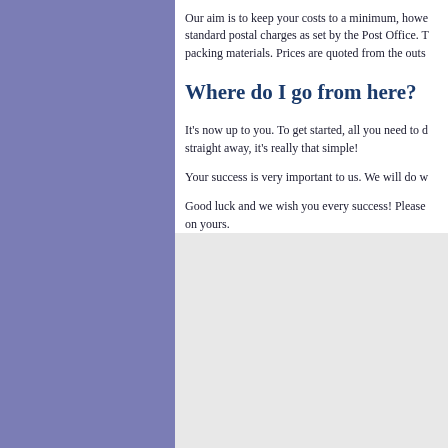Our aim is to keep your costs to a minimum, however we do have to charge standard postal charges as set by the Post Office. This includes all packing materials. Prices are quoted from the outs...
Where do I go from here?
It's now up to you. To get started, all you need to do is... straight away, it's really that simple!
Your success is very important to us. We will do w...
Good luck and we wish you every success! Please... on yours.
[Figure (logo): Payment method logos: VISA, Mastercard/Eurocard, Delta, VISA Electron]
[Figure (logo): Association logos: BH Group, The Cookshop & Housewares Association, HGRA, and one more partially visible]
Copyright (C) 2004 - 2022 Drop...